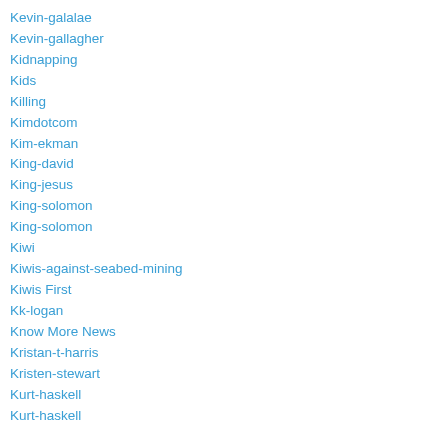Kevin-galalae
Kevin-gallagher
Kidnapping
Kids
Killing
Kimdotcom
Kim-ekman
King-david
King-jesus
King-solomon
King-solomon
Kiwi
Kiwis-against-seabed-mining
Kiwis First
Kk-logan
Know More News
Kristan-t-harris
Kristen-stewart
Kurt-haskell
Kurt-haskell